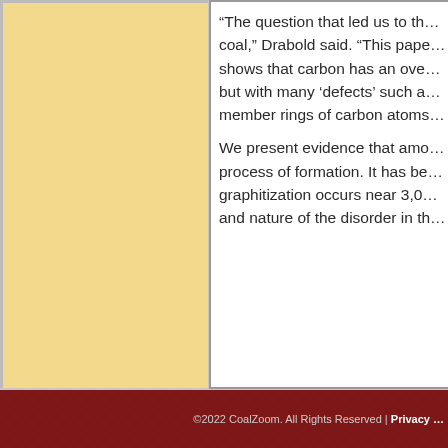[Figure (other): Tan/yellow background left panel area (sidebar)]
“The question that led us to this work is, what is coal,” Drabold said. “This paper shows that carbon has an overall graphite-like structure but with many ‘defects’ such as five- and seven-member rings of carbon atoms.
We present evidence that amorphous carbon is a process of formation. It has been known that graphitization occurs near 3,000 degrees C and nature of the disorder in th…
Back
©2022 CoalZoom. All Rights Reserved | Privacy …